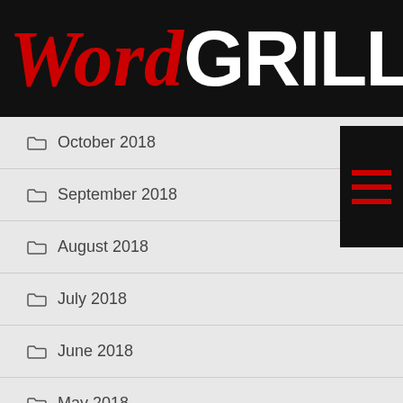[Figure (logo): WordGrill logo with 'Word' in red italic serif and 'GRILL' in white bold sans-serif on black background]
October 2018
September 2018
August 2018
July 2018
June 2018
May 2018
April 2018
March 2018